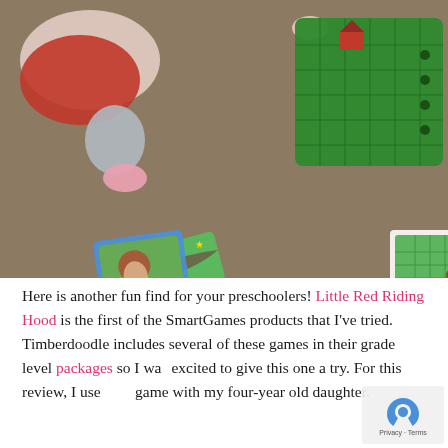[Figure (photo): Overhead view of a child sitting on a carpet, playing with a SmartGames Little Red Riding Hood game. Visible components include a green game board with pieces, pathway tiles, a small instruction booklet, and a wolf figurine.]
Here is another fun find for your preschoolers! Little Red Riding Hood is the first of the SmartGames products that I've tried. Timberdoodle includes several of these games in their grade level packages so I was excited to give this one a try. For this review, I used the game with my four-year old daughter.